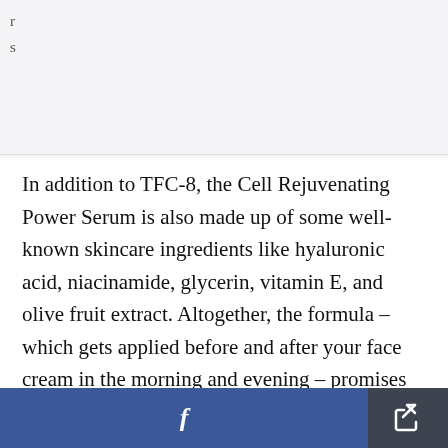s
In addition to TFC-8, the Cell Rejuvenating Power Serum is also made up of some well-known skincare ingredients like hyaluronic acid, niacinamide, glycerin, vitamin E, and olive fruit extract. Altogether, the formula – which gets applied before and after your face cream in the morning and evening – promises to "balance skin's microbiome and strengthen the skin's moisture barrier repairing sins of the past and protecting against modern day stress (i.e. blue light damage
f [share icon]